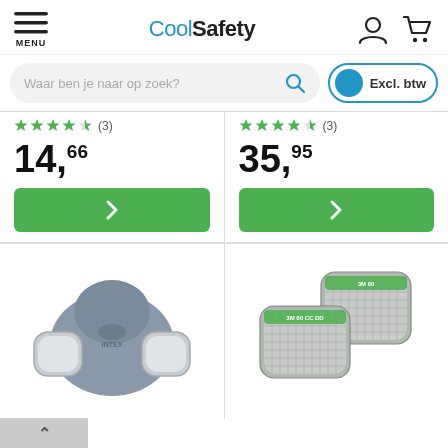CoolSafety — MENU, user icon, cart icon
Waar ben je naar op zoek?
Excl. btw
14,66
35,95
[Figure (photo): Half-face respirator mask, grey/white, with two filter cartridges]
[Figure (photo): Two 3M filter cartridges, grey with green label, grid ventilation surface]